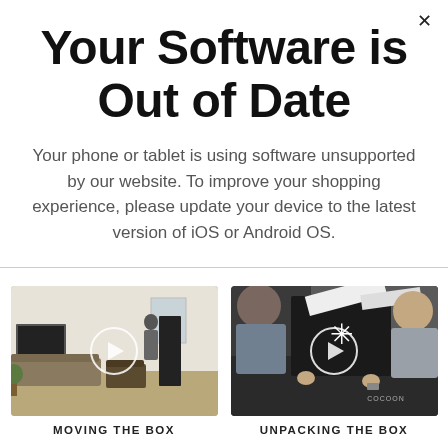Your Software is Out of Date
Your phone or tablet is using software unsupported by our website. To improve your shopping experience, please update your device to the latest version of iOS or Android OS.
[Figure (screenshot): Video thumbnail showing a living room scene with a person and a tall box, with a white circular play button overlay.]
MOVING THE BOX
[Figure (screenshot): Video thumbnail showing a person unpacking a dark Cocoon box, with a white circular play button overlay.]
UNPACKING THE BOX